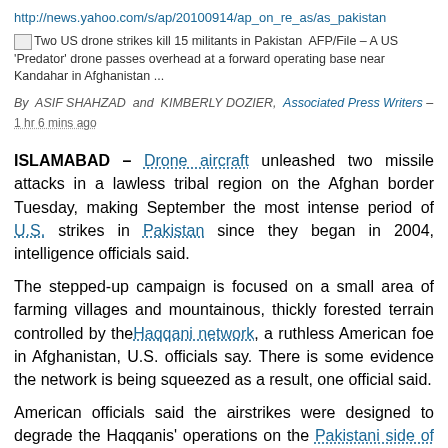http://news.yahoo.com/s/ap/20100914/ap_on_re_as/as_pakistan
Two US drone strikes kill 15 militants in Pakistan AFP/File – A US 'Predator' drone passes overhead at a forward operating base near Kandahar in Afghanistan ...
By ASIF SHAHZAD and KIMBERLY DOZIER, Associated Press Writers – 1 hr 6 mins ago
ISLAMABAD – Drone aircraft unleashed two missile attacks in a lawless tribal region on the Afghan border Tuesday, making September the most intense period of U.S. strikes in Pakistan since they began in 2004, intelligence officials said.
The stepped-up campaign is focused on a small area of farming villages and mountainous, thickly forested terrain controlled by the Haqqani network, a ruthless American foe in Afghanistan, U.S. officials say. There is some evidence the network is being squeezed as a result, one official said.
American officials said the airstrikes were designed to degrade the Haqqanis' operations on the Pakistani side of the border, creating a “hammer-and-anvil” effect as U.S. special operations forces carry out raids against their fighters across the frontier in Afghanistan. The officials spoke on condition of anonymity to discuss ongoing classified operations.